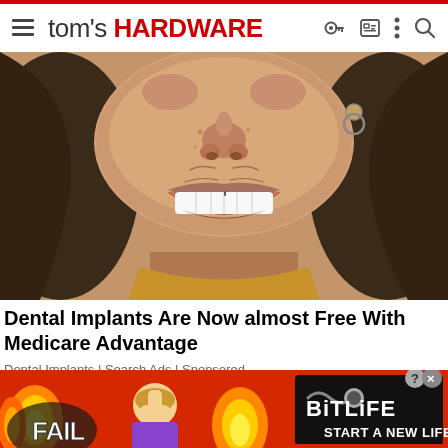tom's HARDWARE
[Figure (photo): Close-up photo of a man's face smiling widely, showing teeth, with dark wet hair and an earring]
Dental Implants Are Now almost Free With Medicare Advantage
Dental Implants | Search Ads | Sponsored
[Figure (other): BitLife advertisement banner with fire, FAIL text, cartoon characters, and START A NEW LIFE text on red background]